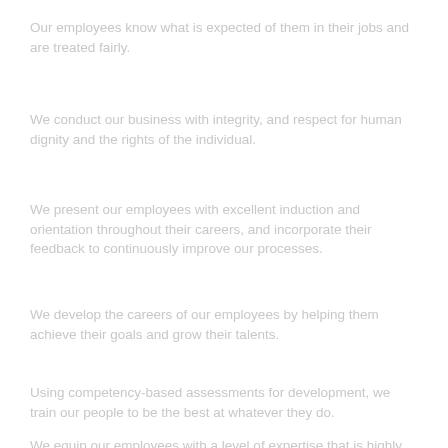Our employees know what is expected of them in their jobs and are treated fairly.
We conduct our business with integrity, and respect for human dignity and the rights of the individual.
We present our employees with excellent induction and orientation throughout their careers, and incorporate their feedback to continuously improve our processes.
We develop the careers of our employees by helping them achieve their goals and grow their talents.
Using competency-based assessments for development, we train our people to be the best at whatever they do.
We equip our employees with a level of expertise that is highly